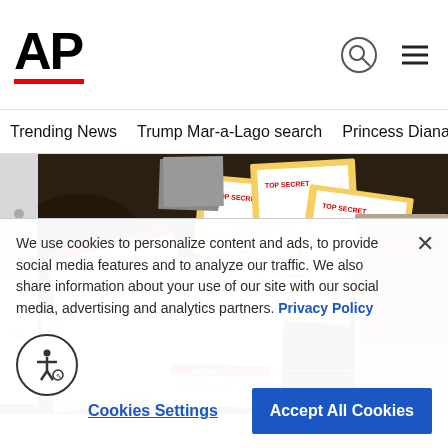AP
Trending News   Trump Mar-a-Lago search   Princess Diana's dea
[Figure (photo): Documents with 'TOP SECRET' and 'SECRET' markings scattered on a dark floral carpet, including yellow-bordered classified folders and white envelopes, photographed from above. A 'SECRET/SCI' labeled document is visible at bottom center.]
We use cookies to personalize content and ads, to provide social media features and to analyze our traffic. We also share information about your use of our site with our social media, advertising and analytics partners. Privacy Policy
Cookies Settings   Accept All Cookies